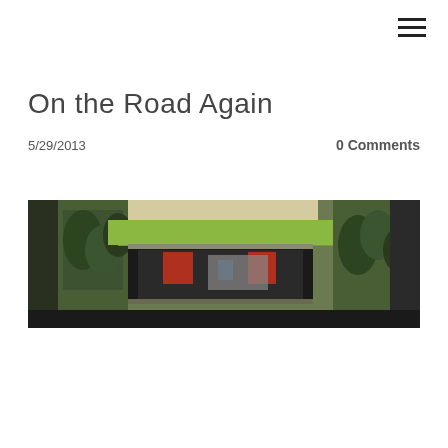☰
On the Road Again
5/29/2013
0 Comments
[Figure (photo): Interior/exterior view of a vintage green car, showing the open trunk or hood area with chrome trim, shot from inside looking out toward trees and a building in the background.]